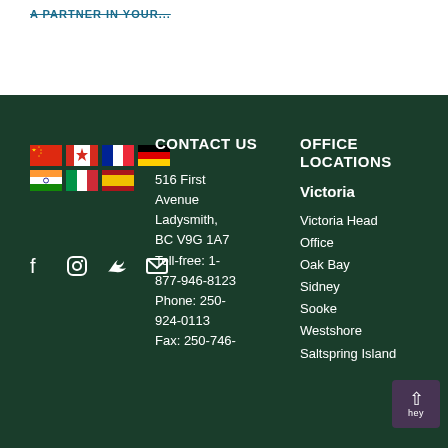A PARTNER IN YOUR...
[Figure (illustration): Row of country flags: China, Canada, France, Germany (top row); India, Italy, Spain (bottom row)]
[Figure (illustration): Social media icons: Facebook, Instagram, Twitter, Email]
CONTACT US
516 First Avenue Ladysmith, BC V9G 1A7 Toll-free: 1-877-946-8123 Phone: 250-924-0113 Fax: 250-746-
OFFICE LOCATIONS
Victoria
Victoria Head Office
Oak Bay
Sidney
Sooke
Westshore
Saltspring Island